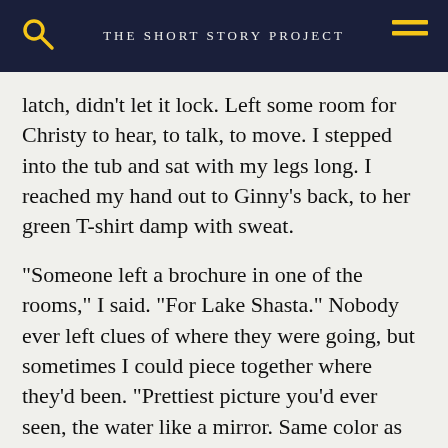THE SHORT STORY PROJECT
latch, didn't let it lock. Left some room for Christy to hear, to talk, to move. I stepped into the tub and sat with my legs long. I reached my hand out to Ginny's back, to her green T-shirt damp with sweat.
“Someone left a brochure in one of the rooms,” I said. “For Lake Shasta.” Nobody ever left clues of where they were going, but sometimes I could piece together where they’d been. “Prettiest picture you’d ever seen, the water like a mirror. Same color as the sky.”
“Was the mountain in it?” Ginny asked.
“Oh, sure.” I reached over and flushed the toilet, sucking away layers of bile. “The snow was so bright that it looked like it was covered in